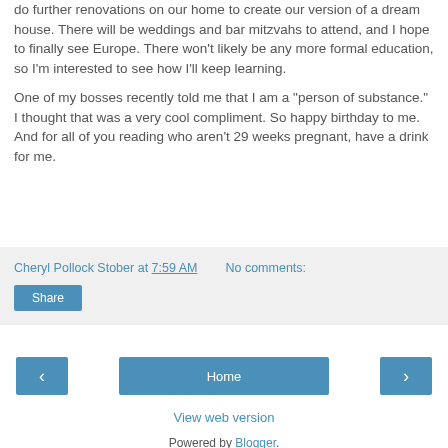do further renovations on our home to create our version of a dream house. There will be weddings and bar mitzvahs to attend, and I hope to finally see Europe. There won't likely be any more formal education, so I'm interested to see how I'll keep learning.
One of my bosses recently told me that I am a "person of substance." I thought that was a very cool compliment. So happy birthday to me. And for all of you reading who aren't 29 weeks pregnant, have a drink for me.
Cheryl Pollock Stober at 7:59 AM    No comments:
Share
‹
Home
›
View web version
Powered by Blogger.